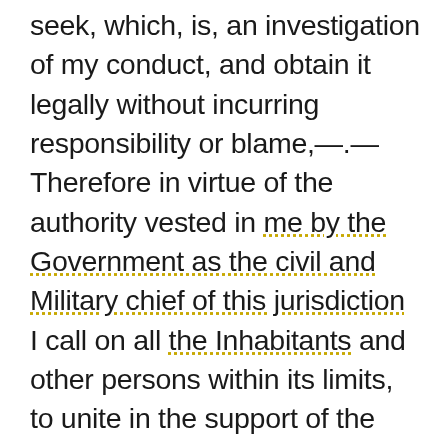seek, which, is, an investigation of my conduct, and obtain it legally without incurring responsibility or blame,—.—Therefore in virtue of the authority vested in me by the Government as the civil and Military chief of this jurisdiction I call on all the Inhabitants and other persons within its limits, to unite in the support of the laws and protection of the constituted authorities of the Government, and I command them to hold themselves in readiness at all times to suppress any acts of insubordination, or others, tending to disturb the public peace; hereby forbidding all meetings unauthorized by the laws concerning it, and the